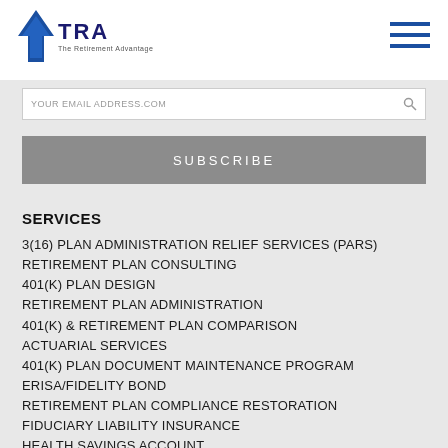TRA — The Retirement Advantage
YOUREMAILA DDRESS.COM
SUBSCRIBE
SERVICES
3(16) PLAN ADMINISTRATION RELIEF SERVICES (PARS)
RETIREMENT PLAN CONSULTING
401(K) PLAN DESIGN
RETIREMENT PLAN ADMINISTRATION
401(K) & RETIREMENT PLAN COMPARISON
ACTUARIAL SERVICES
401(K) PLAN DOCUMENT MAINTENANCE PROGRAM
ERISA/FIDELITY BOND
RETIREMENT PLAN COMPLIANCE RESTORATION
FIDUCIARY LIABILITY INSURANCE
HEALTH SAVINGS ACCOUNT
RETIREMENT LEARNING CENTER (RLC)
BUSINESS VALUATIONS AND M&A SERVICES